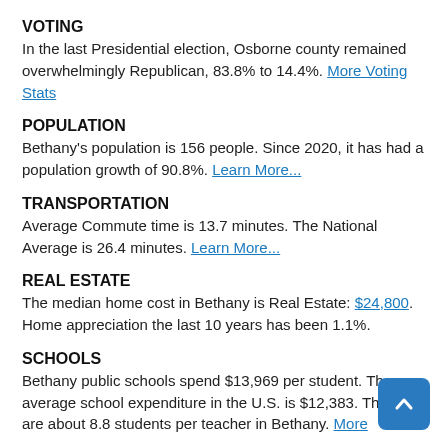VOTING
In the last Presidential election, Osborne county remained overwhelmingly Republican, 83.8% to 14.4%. More Voting Stats
POPULATION
Bethany's population is 156 people. Since 2020, it has had a population growth of 90.8%. Learn More...
TRANSPORTATION
Average Commute time is 13.7 minutes. The National Average is 26.4 minutes. Learn More...
REAL ESTATE
The median home cost in Bethany is Real Estate: $24,800. Home appreciation the last 10 years has been 1.1%.
SCHOOLS
Bethany public schools spend $13,969 per student. The average school expenditure in the U.S. is $12,383. There are about 8.8 students per teacher in Bethany. More